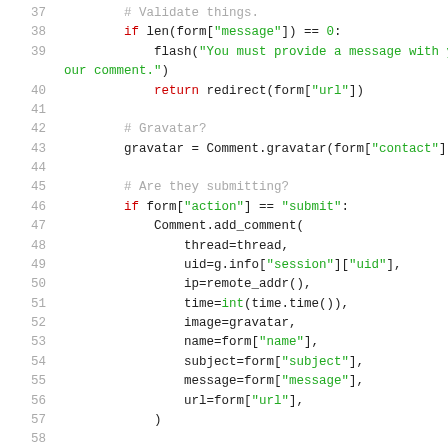[Figure (screenshot): Python source code snippet showing lines 37-58, including form validation, gravatar lookup, and comment submission logic.]